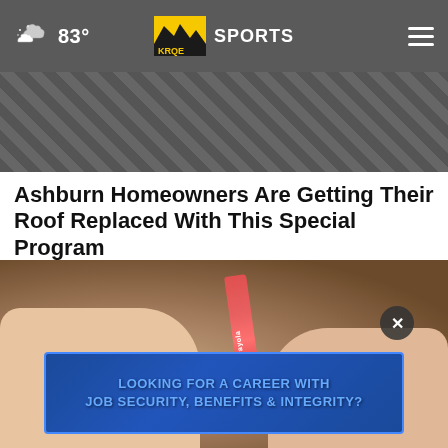83° KRQE SPORTS
[Figure (photo): Top portion of a news article image, showing dark background with some indistinct items]
Ashburn Homeowners Are Getting Their Roof Replaced With This Special Program
Smart Consumer Update
[Figure (photo): Hands holding an open wallet with a Crayola crayon and money inside. An advertisement overlay at the bottom reads: LOOKING FOR A CAREER WITH JOB SECURITY, BENEFITS & INTEGRITY? with a close (X) button.]